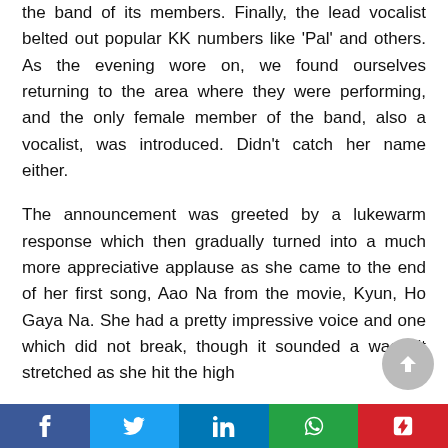the band of its members. Finally, the lead vocalist belted out popular KK numbers like 'Pal' and others. As the evening wore on, we found ourselves returning to the area where they were performing, and the only female member of the band, also a vocalist, was introduced. Didn't catch her name either.
The announcement was greeted by a lukewarm response which then gradually turned into a much more appreciative applause as she came to the end of her first song, Aao Na from the movie, Kyun, Ho Gaya Na. She had a pretty impressive voice and one which did not break, though it sounded a was bit stretched as she hit the high
Facebook | Twitter | LinkedIn | WhatsApp | Pocket